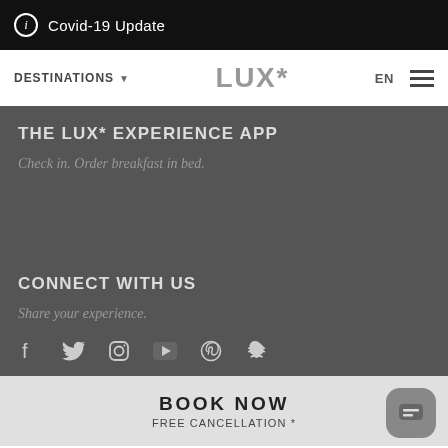Covid-19 Update
DESTINATIONS | LUX* | EN
THE LUX* EXPERIENCE APP
Check in. Order breakfast in bed.
CONNECT WITH US
Share your experience.
[Figure (other): Social media icons: Facebook, Twitter, Instagram, YouTube, Pinterest, Snapchat]
BOOK NOW
FREE CANCELLATION *